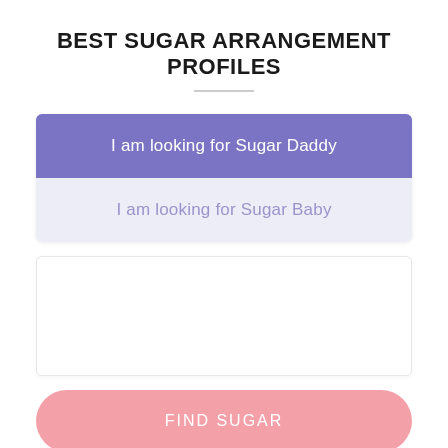BEST SUGAR ARRANGEMENT PROFILES
I am looking for Sugar Daddy
I am looking for Sugar Baby
[Figure (other): Empty white content box / input area]
FIND SUGAR